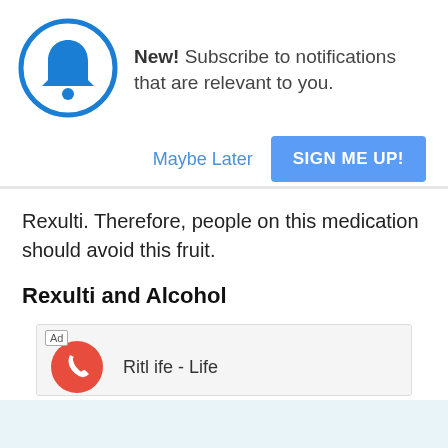[Figure (screenshot): Notification popup with a blue bell icon in a circle, text 'New! Subscribe to notifications that are relevant to you.', a 'Maybe Later' text link, and a blue 'SIGN ME UP!' button.]
Rexulti. Therefore, people on this medication should avoid this fruit.
Rexulti and Alcohol
[Figure (screenshot): Ad box with 'Ad' label, a red phone/call icon, and partial text 'Ritl ife - Life']